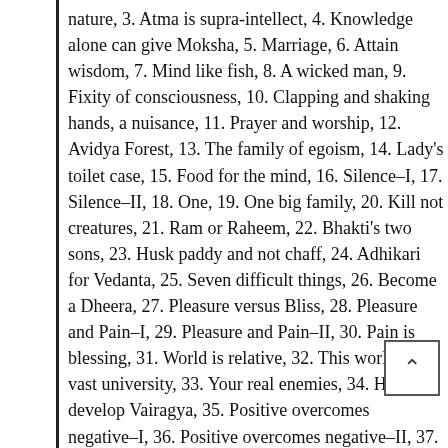nature, 3. Atma is supra-intellect, 4. Knowledge alone can give Moksha, 5. Marriage, 6. Attain wisdom, 7. Mind like fish, 8. A wicked man, 9. Fixity of consciousness, 10. Clapping and shaking hands, a nuisance, 11. Prayer and worship, 12. Avidya Forest, 13. The family of egoism, 14. Lady's toilet case, 15. Food for the mind, 16. Silence–I, 17. Silence–II, 18. One, 19. One big family, 20. Kill not creatures, 21. Ram or Raheem, 22. Bhakti's two sons, 23. Husk paddy and not chaff, 24. Adhikari for Vedanta, 25. Seven difficult things, 26. Become a Dheera, 27. Pleasure versus Bliss, 28. Pleasure and Pain–I, 29. Pleasure and Pain–II, 30. Pain is blessing, 31. World is relative, 32. This world is a vast university, 33. Your real enemies, 34. How to develop Vairagya, 35. Positive overcomes negative–I, 36. Positive overcomes negative–II, 37. Virtue victorious, 38. Abhiman, 39. Way to Bliss, 40. Anger has its raison d'etre, 41. Vairagya, 42. Self-sacrificing tree, 43. Paropakara, 44. Bring peace and happiness, 45. Sow love and joy, 46. Elevate, serve and protect, 47. Aye and